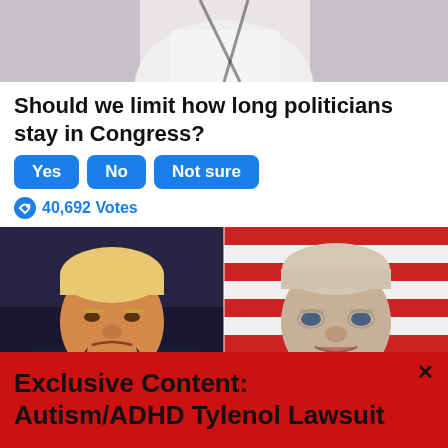[Figure (photo): Cropped top portion of a person at a podium, white shirt visible]
Should we limit how long politicians stay in Congress?
Yes
No
Not sure
40,692 Votes
[Figure (photo): Side-by-side photos of two politicians: Donald Trump on the left with fist raised wearing a suit and red tie, Joe Biden on the right at microphones with American flag background]
Exclusive Content: Autism/ADHD Tylenol Lawsuit